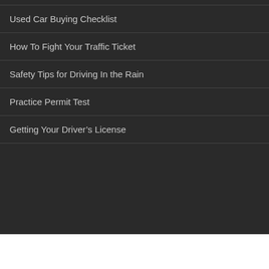Used Car Buying Checklist
How To Fight Your Traffic Ticket
Safety Tips for Driving In the Rain
Practice Permit Test
Getting Your Driver's License